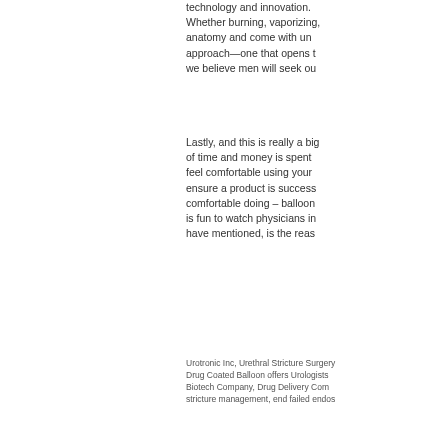technology and innovation. Whether burning, vaporizing, anatomy and come with un approach—one that opens t we believe men will seek ou
Lastly, and this is really a big of time and money is spent feel comfortable using your ensure a product is success comfortable doing – balloon is fun to watch physicians in have mentioned, is the reas
Urotronic Inc, Urethral Stricture Surgery Drug Coated Balloon offers Urologists Biotech Company, Drug Delivery Com stricture management, end failed endos